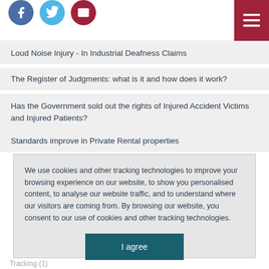Social media and menu header icons
Loud Noise Injury - In Industrial Deafness Claims
The Register of Judgments: what is it and how does it work?
Has the Government sold out the rights of Injured Accident Victims and Injured Patients?
Standards improve in Private Rental properties
We use cookies and other tracking technologies to improve your browsing experience on our website, to show you personalised content, to analyse our website traffic, and to understand where our visitors are coming from. By browsing our website, you consent to our use of cookies and other tracking technologies.
I agree
Tracking (1)